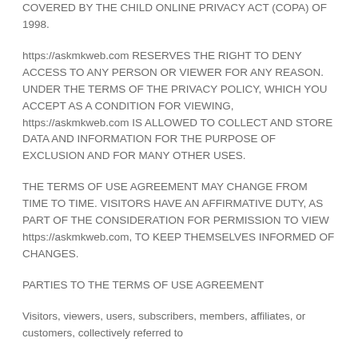COVERED BY THE CHILD ONLINE PRIVACY ACT (COPA) OF 1998.
https://askmkweb.com RESERVES THE RIGHT TO DENY ACCESS TO ANY PERSON OR VIEWER FOR ANY REASON. UNDER THE TERMS OF THE PRIVACY POLICY, WHICH YOU ACCEPT AS A CONDITION FOR VIEWING, https://askmkweb.com IS ALLOWED TO COLLECT AND STORE DATA AND INFORMATION FOR THE PURPOSE OF EXCLUSION AND FOR MANY OTHER USES.
THE TERMS OF USE AGREEMENT MAY CHANGE FROM TIME TO TIME. VISITORS HAVE AN AFFIRMATIVE DUTY, AS PART OF THE CONSIDERATION FOR PERMISSION TO VIEW https://askmkweb.com, TO KEEP THEMSELVES INFORMED OF CHANGES.
PARTIES TO THE TERMS OF USE AGREEMENT
Visitors, viewers, users, subscribers, members, affiliates, or customers, collectively referred to